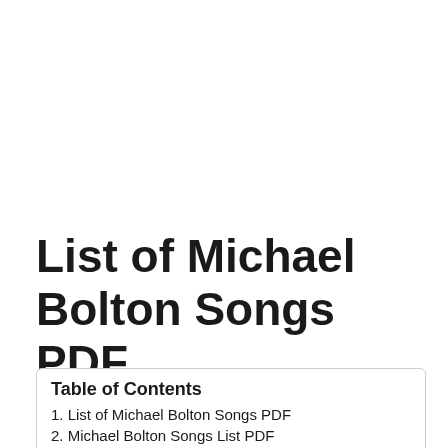List of Michael Bolton Songs PDF
Table of Contents
1. List of Michael Bolton Songs PDF
2. Michael Bolton Songs List PDF